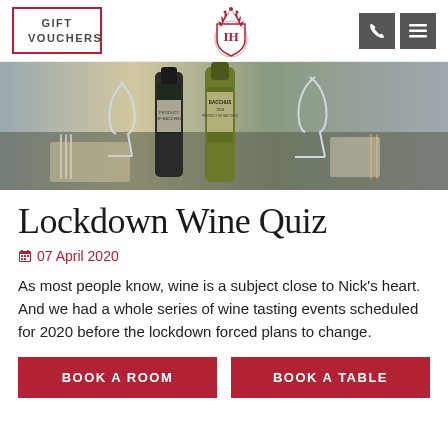GIFT VOUCHERS | IH Logo | Phone icon | Menu icon
[Figure (photo): A dining table scene with wine bottles including a dark bottle and a green bottle labeled 'Bacchus', wine glasses, cutlery, and table settings on a dark surface.]
Lockdown Wine Quiz
07 April 2020
As most people know, wine is a subject close to Nick's heart. And we had a whole series of wine tasting events scheduled for 2020 before the lockdown forced plans to change.
BOOK A ROOM | BOOK A TABLE